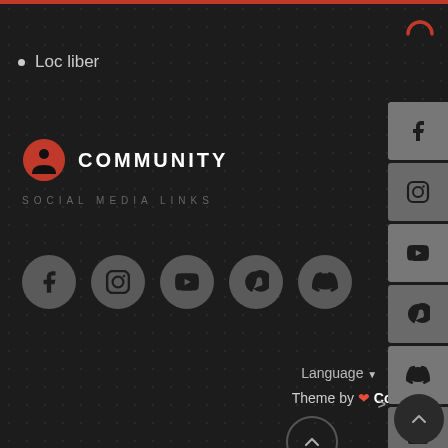• Loc liber
COMMUNITY
SOCIAL MEDIA LINKS
[Figure (illustration): Row of 5 social media icons in dark circles: Facebook, Instagram, YouTube, Steam, Discord]
Language ▼   Theme ▼
Theme by ❤ CodeBite.dev
By LimitZone.Ro
Powered by Invision Community